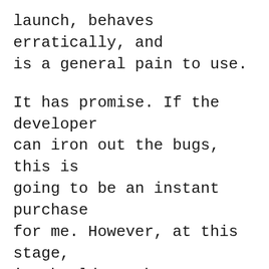launch, behaves erratically, and is a general pain to use.
It has promise. If the developer can iron out the bugs, this is going to be an instant purchase for me. However, at this stage, it should not be available in the App Store. Being in the App Store implies a certain basic level of usability. Dashword breaks that expectation. I know it is free, but the product